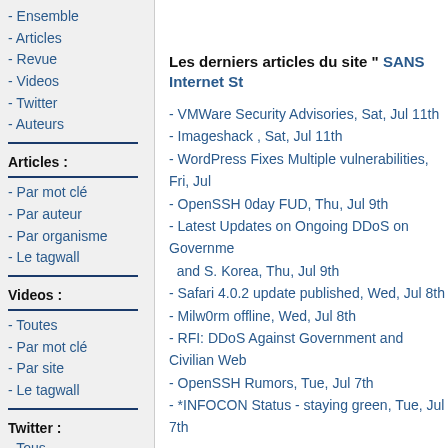- Ensemble
- Articles
- Revue
- Videos
- Twitter
- Auteurs
Articles :
- Par mot clé
- Par auteur
- Par organisme
- Le tagwall
Videos :
- Toutes
- Par mot clé
- Par site
- Le tagwall
Twitter :
- Tous
- Par mot clé
Les derniers articles du site " SANS Internet St
- VMWare Security Advisories, Sat, Jul 11th
- Imageshack , Sat, Jul 11th
- WordPress Fixes Multiple vulnerabilities, Fri, Jul
- OpenSSH 0day FUD, Thu, Jul 9th
- Latest Updates on Ongoing DDoS on Government and S. Korea, Thu, Jul 9th
- Safari 4.0.2 update published, Wed, Jul 8th
- Milw0rm offline, Wed, Jul 8th
- RFI: DDoS Against Government and Civilian Web
- OpenSSH Rumors, Tue, Jul 7th
- *INFOCON Status - staying green, Tue, Jul 7th
Voir tous les articles du site " SANS Inte
S'abonner au fil RSS global de la revue
Mo... t Articles du la revue des meilleures...